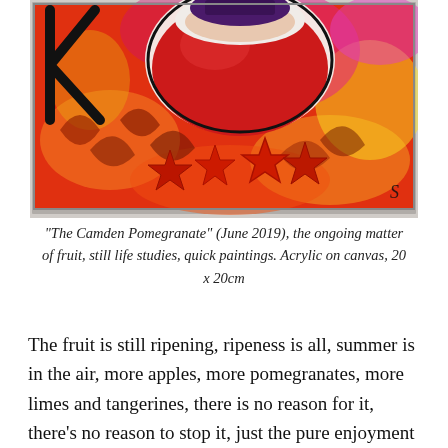[Figure (photo): Photograph of a colorful acrylic painting on canvas showing a pomegranate with bold red, orange, pink and yellow colors, black outlines, star shapes, and a signature 'S' in the lower right corner. The painting rests against a light wall.]
“The Camden Pomegranate” (June 2019), the ongoing matter of fruit, still life studies, quick paintings. Acrylic on canvas, 20 x 20cm
The fruit is still ripening, ripeness is all, summer is in the air, more apples, more pomegranates, more limes and tangerines, there is no reason for it, there’s no reason to stop it, just the pure enjoyment of painting red peppers, still life studies for no other reason that the fact that I’m rather